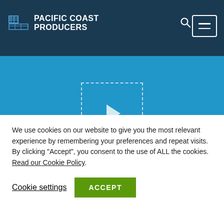harvested at the peak of ripeness.
[Figure (logo): Pacific Coast Producers logo with navigation bar including search and hamburger menu icons]
[Figure (other): Blue background video section with dashed-border play button in center]
RETAIL
We use cookies on our website to give you the most relevant experience by remembering your preferences and repeat visits. By clicking “Accept”, you consent to the use of ALL the cookies. Read our Cookie Policy.
Cookie settings
ACCEPT